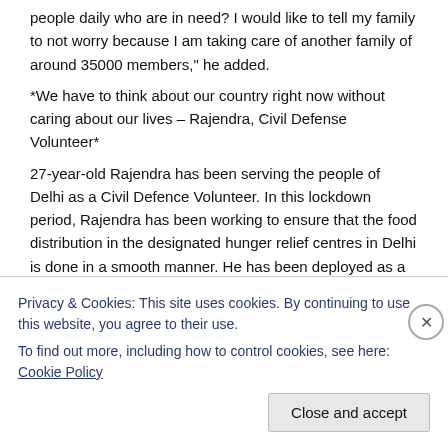people daily who are in need? I would like to tell my family to not worry because I am taking care of another family of around 35000 members," he added.
*We have to think about our country right now without caring about our lives – Rajendra, Civil Defense Volunteer*
27-year-old Rajendra has been serving the people of Delhi as a Civil Defence Volunteer. In this lockdown period, Rajendra has been working to ensure that the food distribution in the designated hunger relief centres in Delhi is done in a smooth manner. He has been deployed as a CDV at an HRC in Kalkaji. He said, "It is our responsibility to protect the people of Delhi. My duty is to ensure that people follow all social distancing norms and that food distribution is done in a proper manner. The Delhi government is feeding the poor
Privacy & Cookies: This site uses cookies. By continuing to use this website, you agree to their use.
To find out more, including how to control cookies, see here: Cookie Policy